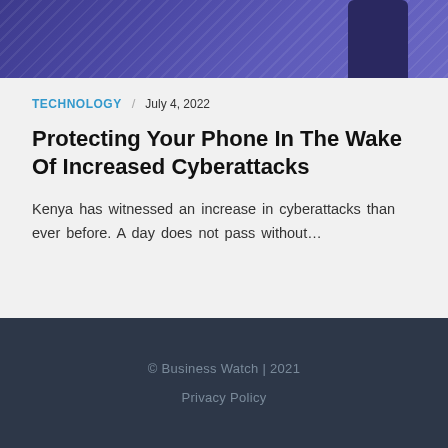[Figure (photo): Hero image with purple/indigo gradient background and a dark phone device visible on the right side]
TECHNOLOGY / July 4, 2022
Protecting Your Phone In The Wake Of Increased Cyberattacks
Kenya has witnessed an increase in cyberattacks than ever before. A day does not pass without…
© Business Watch | 2021
Privacy Policy